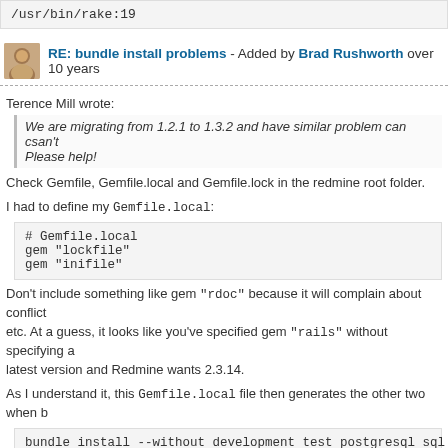/usr/bin/rake:19
RE: bundle install problems - Added by Brad Rushworth over 10 years
Terence Mill wrote:
We are migrating from 1.2.1 to 1.3.2 and have similar problem can csan't ... Please help!
Check Gemfile, Gemfile.local and Gemfile.lock in the redmine root folder.
I had to define my Gemfile.local:
# Gemfile.local
gem "lockfile"
gem "inifile"
Don't include something like gem "rdoc" because it will complain about conflict etc. At a guess, it looks like you've specified gem "rails" without specifying a latest version and Redmine wants 2.3.14.
As I understand it, this Gemfile.local file then generates the other two when b
bundle install --without development test postgresql sql
Also, I'm using mod_fcgid and I found I had to add symbolic links to my public
ls -la public/